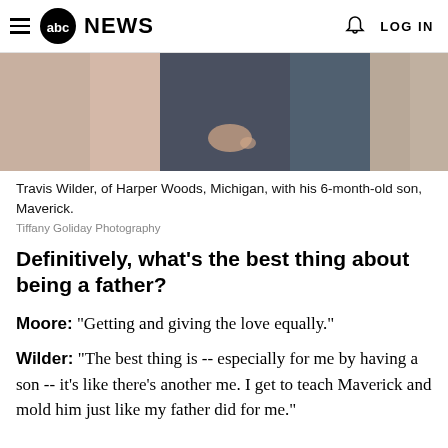abc NEWS  LOG IN
[Figure (photo): Close-up photo of a man holding a baby, partially visible, dark and warm tones]
Travis Wilder, of Harper Woods, Michigan, with his 6-month-old son, Maverick.
Tiffany Goliday Photography
Definitively, what's the best thing about being a father?
Moore: "Getting and giving the love equally."
Wilder: "The best thing is -- especially for me by having a son -- it's like there's another me. I get to teach Maverick and mold him just like my father did for me."